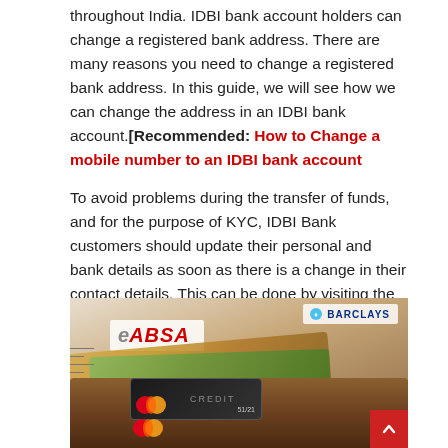throughout India. IDBI bank account holders can change a registered bank address. There are many reasons you need to change a registered bank address. In this guide, we will see how we can change the address in an IDBI bank account.[Recommended: How to Change a mobile number to an IDBI bank account
To avoid problems during the transfer of funds, and for the purpose of KYC, IDBI Bank customers should update their personal and bank details as soon as there is a change in their contact details. This can be done by visiting the IDBI Bank branch or the official banking website. It is also important to contact the correct bank address so that the customer receives the emails sent by the bank.
[Figure (photo): Photograph of a leather wallet with bank notes, credit cards including a Mastercard, an ABSA bank document, and a Barclays branded card visible.]